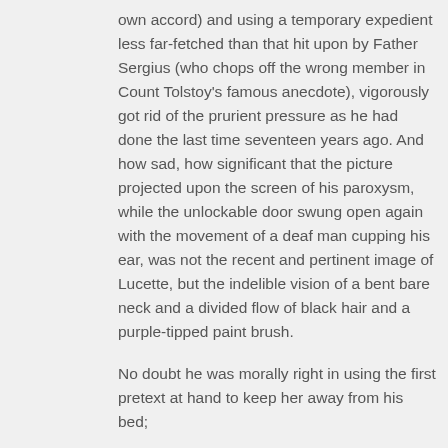own accord) and using a temporary expedient less far-fetched than that hit upon by Father Sergius (who chops off the wrong member in Count Tolstoy's famous anecdote), vigorously got rid of the prurient pressure as he had done the last time seventeen years ago. And how sad, how significant that the picture projected upon the screen of his paroxysm, while the unlockable door swung open again with the movement of a deaf man cupping his ear, was not the recent and pertinent image of Lucette, but the indelible vision of a bent bare neck and a divided flow of black hair and a purple-tipped paint brush.
No doubt he was morally right in using the first pretext at hand to keep her away from his bed;